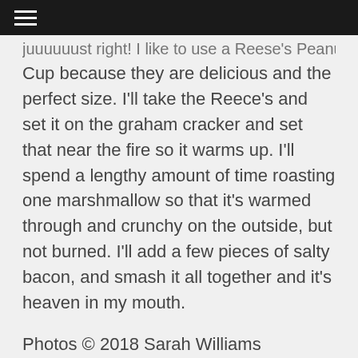≡
juuuuuust right! I like to use a Reese's Peanut Butter Cup because they are delicious and the perfect size. I'll take the Reece's and set it on the graham cracker and set that near the fire so it warms up. I'll spend a lengthy amount of time roasting one marshmallow so that it's warmed through and crunchy on the outside, but not burned. I'll add a few pieces of salty bacon, and smash it all together and it's heaven in my mouth.
Photos © 2018 Sarah Williams
[Figure (other): Social share buttons: Facebook, Twitter, Pinterest, Email, with 0 shares count]